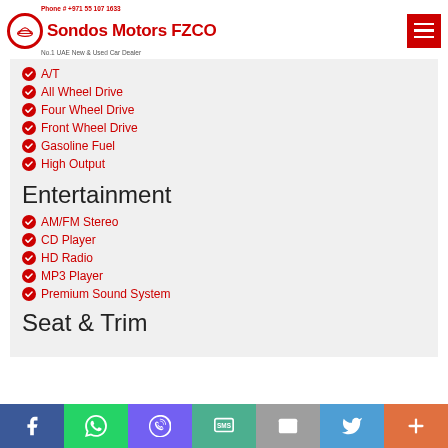Sondos Motors FZCO — Phone # +971 55 107 1633 — No.1 UAE New & Used Car Dealer
A/T
All Wheel Drive
Four Wheel Drive
Front Wheel Drive
Gasoline Fuel
High Output
Entertainment
AM/FM Stereo
CD Player
HD Radio
MP3 Player
Premium Sound System
Seat & Trim